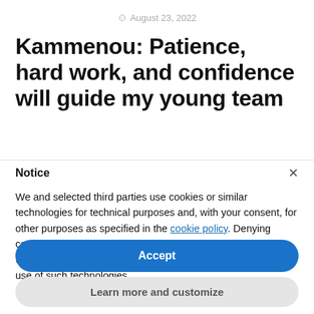August 23, 2022
Kammenou: Patience, hard work, and confidence will guide my young team
Notice
We and selected third parties use cookies or similar technologies for technical purposes and, with your consent, for other purposes as specified in the cookie policy. Denying consent may make related features unavailable.
Use the “Accept” button or close this notice to consent to the use of such technologies.
Accept
Learn more and customize